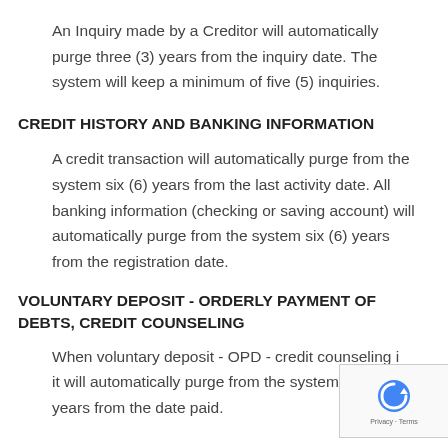An Inquiry made by a Creditor will automatically purge three (3) years from the inquiry date. The system will keep a minimum of five (5) inquiries.
CREDIT HISTORY AND BANKING INFORMATION
A credit transaction will automatically purge from the system six (6) years from the last activity date. All banking information (checking or saving account) will automatically purge from the system six (6) years from the registration date.
VOLUNTARY DEPOSIT - ORDERLY PAYMENT OF DEBTS, CREDIT COUNSELING
When voluntary deposit - OPD - credit counseling is it will automatically purge from the system three (3 years from the date paid.